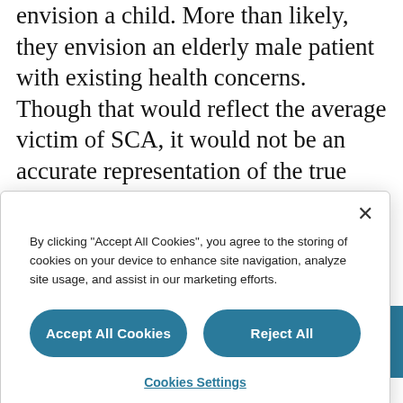envision a child. More than likely, they envision an elderly male patient with existing health concerns. Though that would reflect the average victim of SCA, it would not be an accurate representation of the true scope of victims. SCA can claim anyone – of any age, male or female, regardless if they
[Figure (screenshot): Cookie consent banner overlay with 'Accept All Cookies' and 'Reject All' buttons, and a 'Cookies Settings' link. Contains text: By clicking "Accept All Cookies", you agree to the storing of cookies on your device to enhance site navigation, analyze site usage, and assist in our marketing efforts.]